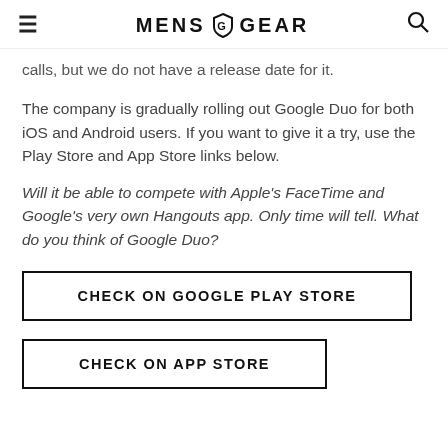MENS GEAR
calls, but we do not have a release date for it.
The company is gradually rolling out Google Duo for both iOS and Android users. If you want to give it a try, use the Play Store and App Store links below.
Will it be able to compete with Apple's FaceTime and Google's very own Hangouts app. Only time will tell. What do you think of Google Duo?
CHECK ON GOOGLE PLAY STORE
CHECK ON APP STORE